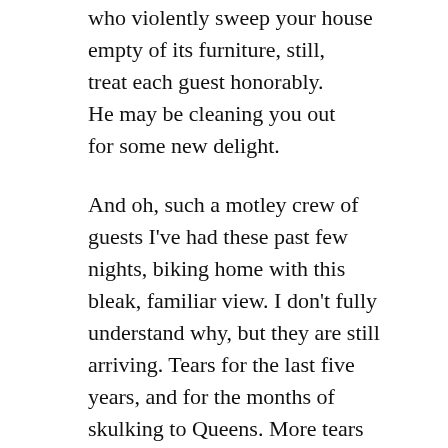who violently sweep your house empty of its furniture, still, treat each guest honorably. He may be cleaning you out for some new delight.
And oh, such a motley crew of guests I've had these past few nights, biking home with this bleak, familiar view. I don't fully understand why, but they are still arriving. Tears for the last five years, and for the months of skulking to Queens. More tears for the partial vindication of his dreams. Pride, resentment, fury, sadness, bittersweet pangs. I see him with his young business partner at the whiteboard in our tiny living room, and wish we were back